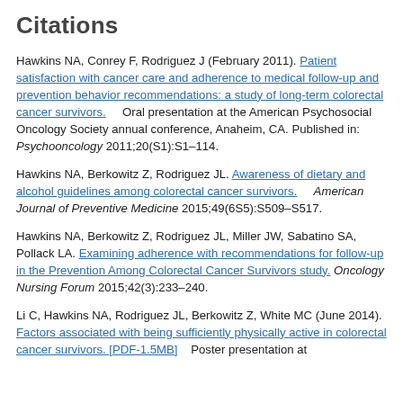Citations
Hawkins NA, Conrey F, Rodriguez J (February 2011). Patient satisfaction with cancer care and adherence to medical follow-up and prevention behavior recommendations: a study of long-term colorectal cancer survivors. Oral presentation at the American Psychosocial Oncology Society annual conference, Anaheim, CA. Published in: Psychooncology 2011;20(S1):S1–114.
Hawkins NA, Berkowitz Z, Rodriguez JL. Awareness of dietary and alcohol guidelines among colorectal cancer survivors. American Journal of Preventive Medicine 2015;49(6S5):S509–S517.
Hawkins NA, Berkowitz Z, Rodriguez JL, Miller JW, Sabatino SA, Pollack LA. Examining adherence with recommendations for follow-up in the Prevention Among Colorectal Cancer Survivors study. Oncology Nursing Forum 2015;42(3):233–240.
Li C, Hawkins NA, Rodriguez JL, Berkowitz Z, White MC (June 2014). Factors associated with being sufficiently physically active in colorectal cancer survivors. [PDF-1.5MB] Poster presentation at